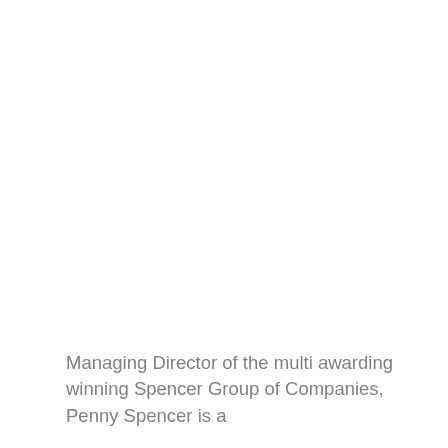Managing Director of the multi awarding winning Spencer Group of Companies, Penny Spencer is a